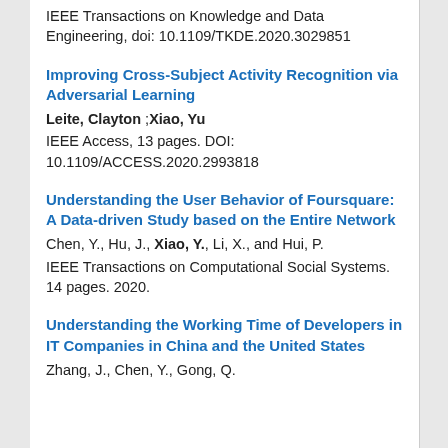IEEE Transactions on Knowledge and Data Engineering, doi: 10.1109/TKDE.2020.3029851
Improving Cross-Subject Activity Recognition via Adversarial Learning
Leite, Clayton ;Xiao, Yu
IEEE Access, 13 pages. DOI: 10.1109/ACCESS.2020.2993818
Understanding the User Behavior of Foursquare: A Data-driven Study based on the Entire Network
Chen, Y., Hu, J., Xiao, Y., Li, X., and Hui, P.
IEEE Transactions on Computational Social Systems. 14 pages. 2020.
Understanding the Working Time of Developers in IT Companies in China and the United States
Zhang, J., Chen, Y., Gong, Q...